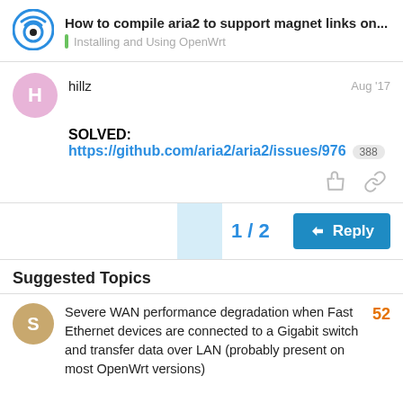How to compile aria2 to support magnet links on... | Installing and Using OpenWrt
hillz | Aug '17
SOLVED: https://github.com/aria2/aria2/issues/976 388
1 / 2
Reply
Suggested Topics
Severe WAN performance degradation when Fast Ethernet devices are connected to a Gigabit switch and transfer data over LAN (probably present on most OpenWrt versions)